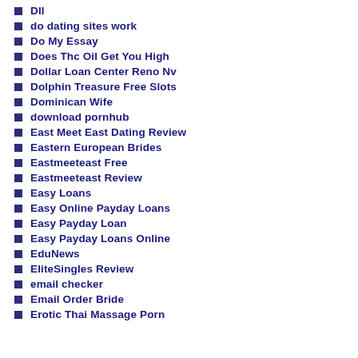Dll
do dating sites work
Do My Essay
Does Thc Oil Get You High
Dollar Loan Center Reno Nv
Dolphin Treasure Free Slots
Dominican Wife
download pornhub
East Meet East Dating Review
Eastern European Brides
Eastmeeteast Free
Eastmeeteast Review
Easy Loans
Easy Online Payday Loans
Easy Payday Loan
Easy Payday Loans Online
EduNews
EliteSingles Review
email checker
Email Order Bride
Erotic Thai Massage Porn